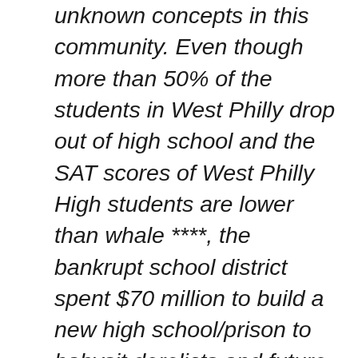unknown concepts in this community. Even though more than 50% of the students in West Philly drop out of high school and the SAT scores of West Philly High students are lower than whale ****, the bankrupt school district spent $70 million to build a new high school/prison to babysit derelicts and future prison inmates. The windows do not have steel bars yet, as the architect was smart to put all windows at least eight feet above street level.